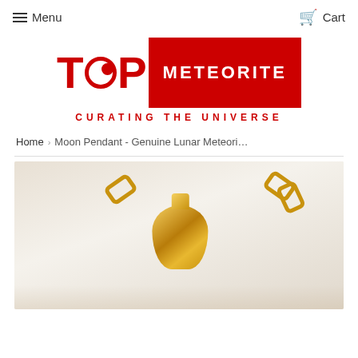Menu   Cart
[Figure (logo): Top Meteorite logo with red TOP text and red box containing white METEORITE text, tagline CURATING THE UNIVERSE in red]
Home › Moon Pendant - Genuine Lunar Meteori…
[Figure (photo): Close-up photo of a gold pendant necklace with chain links on a white furry background]